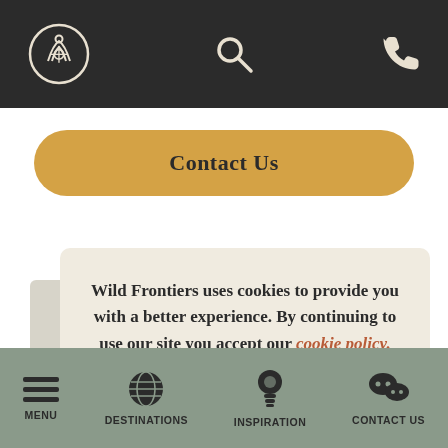[Figure (screenshot): Wild Frontiers travel website mobile screenshot with dark top navigation bar containing a circular logo with compass/person icon, search icon, and phone icon]
Contact Us
Wild Frontiers uses cookies to provide you with a better experience. By continuing to use our site you accept our cookie policy.
Close
MENU  DESTINATIONS  INSPIRATION  CONTACT US